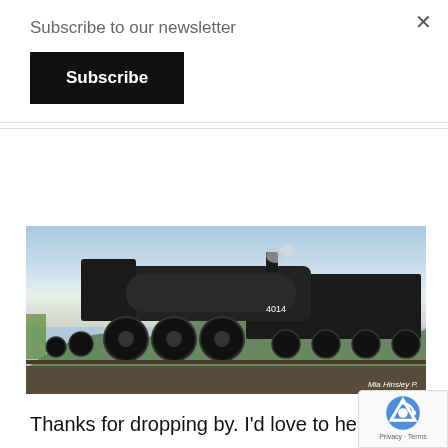Subscribe to our newsletter
Subscribe
sure to take some time to be human.
[Figure (photo): A large black steam locomotive (appears to be a Union Pacific Big Boy or similar) traveling on railroad tracks. The locomotive is massive and dark, photographed from a low angle showing its large drive wheels and boiler. Background shows blue sky with white clouds and green hills. Photo credit: Mia Hinsley P.]
Thanks for dropping by. I'd love to hear your